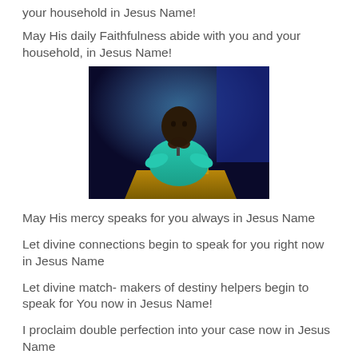your household in Jesus Name!
May His daily Faithfulness abide with you and your household, in Jesus Name!
[Figure (photo): A man in a teal/turquoise shirt praying or speaking at a podium with a microphone, dark background with blue lighting]
May His mercy speaks for you always in Jesus Name
Let divine connections begin to speak for you right now in Jesus Name
Let divine match- makers of destiny helpers begin to speak for You now in Jesus Name!
I proclaim double perfection into your case now in Jesus Name
I declare your season of warfare over right now in Jesus Name